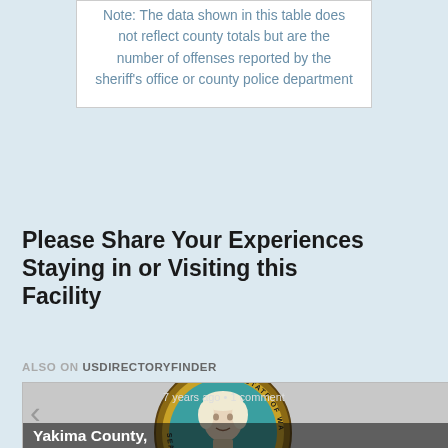Note: The data shown in this table does not reflect county totals but are the number of offenses reported by the sheriff's office or county police department
Please Share Your Experiences Staying in or Visiting this Facility
ALSO ON USDIRECTORYFINDER
[Figure (screenshot): Carousel widget showing a card with the Washington State seal and text 'Yakima County,' with navigation arrows and a partial right card. Shows '7 years ago • 1 comment' metadata overlay.]